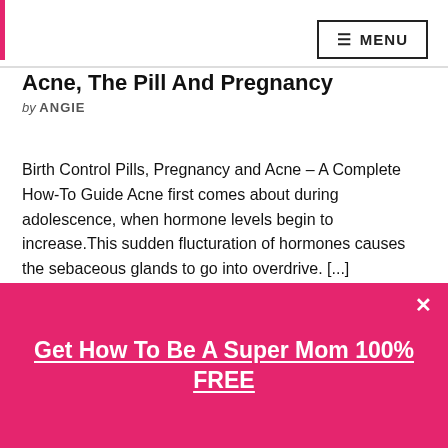≡ MENU
Acne, The Pill And Pregnancy
by ANGIE
Birth Control Pills, Pregnancy and Acne – A Complete How-To Guide Acne first comes about during adolescence, when hormone levels begin to increase.This sudden flucturation of hormones causes the sebaceous glands to go into overdrive. [...]
Get How To Be A Super Mom 100% FREE
Your email address will not be published. Required fields are marked *